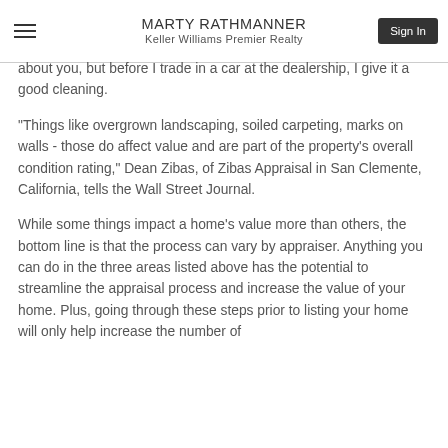MARTY RATHMANNER
Keller Williams Premier Realty
about you, but before I trade in a car at the dealership, I give it a good cleaning.
"Things like overgrown landscaping, soiled carpeting, marks on walls - those do affect value and are part of the property's overall condition rating," Dean Zibas, of Zibas Appraisal in San Clemente, California, tells the Wall Street Journal.
While some things impact a home's value more than others, the bottom line is that the process can vary by appraiser. Anything you can do in the three areas listed above has the potential to streamline the appraisal process and increase the value of your home. Plus, going through these steps prior to listing your home will only help increase the number of potential buyers. And ultimately, selling your home is